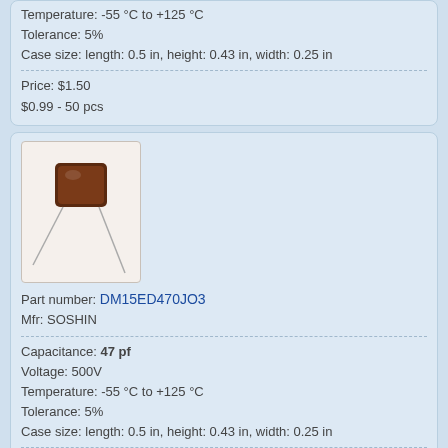Temperature: -55 °C to +125 °C
Tolerance: 5%
Case size: length: 0.5 in, height: 0.43 in, width: 0.25 in
Price: $1.50
$0.99 - 50 pcs
[Figure (photo): Photo of a small brown mica capacitor with two thin silver leads extending from the bottom]
Part number: DM15ED470JO3
Mfr: SOSHIN
Capacitance: 47 pf
Voltage: 500V
Temperature: -55 °C to +125 °C
Tolerance: 5%
Case size: length: 0.5 in, height: 0.43 in, width: 0.25 in
Price: $1.50
$0.99 - 50 pcs